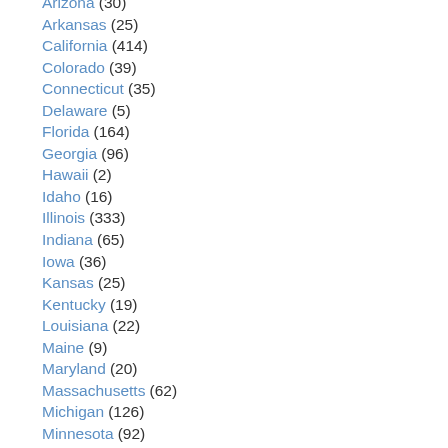Arizona (30)
Arkansas (25)
California (414)
Colorado (39)
Connecticut (35)
Delaware (5)
Florida (164)
Georgia (96)
Hawaii (2)
Idaho (16)
Illinois (333)
Indiana (65)
Iowa (36)
Kansas (25)
Kentucky (19)
Louisiana (22)
Maine (9)
Maryland (20)
Massachusetts (62)
Michigan (126)
Minnesota (92)
Mississippi (21)